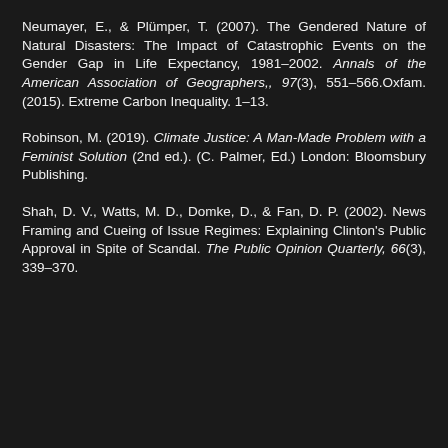Neumayer, E., & Plümper, T. (2007). The Gendered Nature of Natural Disasters: The Impact of Catastrophic Events on the Gender Gap in Life Expectancy, 1981–2002. Annals of the American Association of Geographers,, 97(3), 551–566.Oxfam. (2015). Extreme Carbon Inequality. 1–13.
Robinson, M. (2019). Climate Justice: A Man-Made Problem with a Feminist Solution (2nd ed.). (C. Palmer, Ed.) London: Bloomsbury Publishing.
Shah, D. V., Watts, M. D., Domke, D., & Fan, D. P. (2002). News Framing and Cueing of Issue Regimes: Explaining Clinton's Public Approval in Spite of Scandal. The Public Opinion Quarterly, 66(3), 339–370.